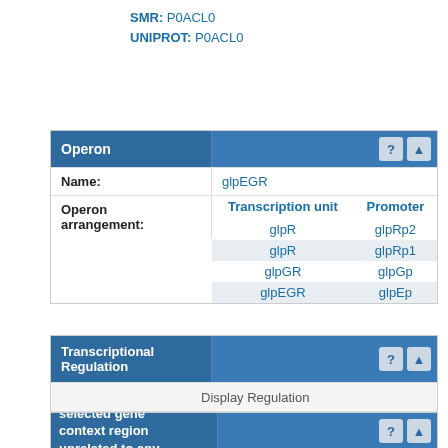SMR: P0ACL0
UNIPROT: P0ACL0
| Operon |  |
| --- | --- |
| Name: | glpEGR |
| Operon arrangement: | Transcription unit | Promoter | glpR | glpRp2 | glpR | glpRp1 | glpGR | glpGp | glpEGR | glpEp |
| Transcriptional Regulation |  |
| --- | --- |
|  | Display Regulation |
| Activated by: | CRP |
| Elements in the selected gene context region unrelated to any object in |  |
| --- | --- |